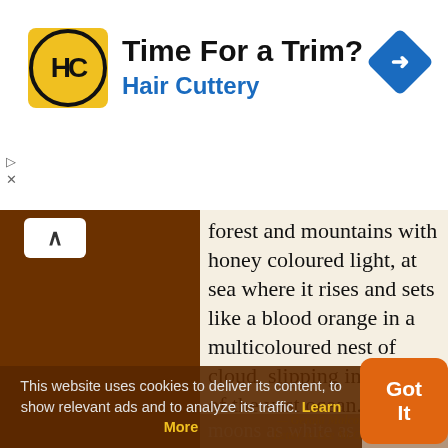[Figure (screenshot): Hair Cuttery advertisement banner with yellow logo showing 'HC' in a circle, title 'Time For a Trim?', subtitle 'Hair Cuttery' in blue, and a blue navigation arrow icon on the right]
forest and mountains with honey coloured light, at sea where it rises and sets like a blood orange in a multicoloured nest of cloud, slipping in and out of the vast ocean. I have seen a thousand moons: harvest moons like gold coins, winter moons as white as ice chips, new moons like baby swans' feathers.
— Gerald Malcolm Durrell — Letter to Lee McGeorge (31 Jul
This website uses cookies to deliver its content, to show relevant ads and to analyze its traffic. Learn More
Got It